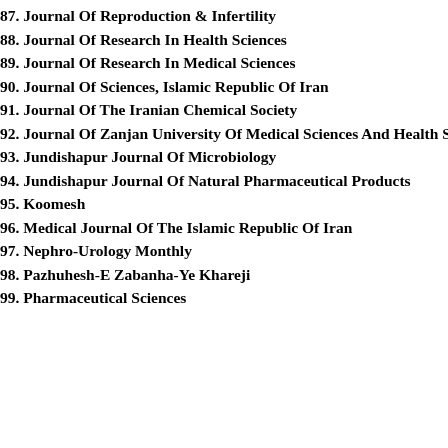87. Journal Of Reproduction & Infertility
88. Journal Of Research In Health Sciences
89. Journal Of Research In Medical Sciences
90. Journal Of Sciences, Islamic Republic Of Iran
91. Journal Of The Iranian Chemical Society
92. Journal Of Zanjan University Of Medical Sciences And Health Services
93. Jundishapur Journal Of Microbiology
94. Jundishapur Journal Of Natural Pharmaceutical Products
95. Koomesh
96. Medical Journal Of The Islamic Republic Of Iran
97. Nephro-Urology Monthly
98. Pazhuhesh-E Zabanha-Ye Khareji
99. Pharmaceutical Sciences